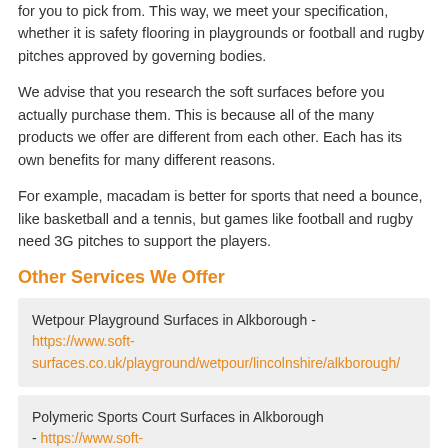for you to pick from. This way, we meet your specification, whether it is safety flooring in playgrounds or football and rugby pitches approved by governing bodies.
We advise that you research the soft surfaces before you actually purchase them. This is because all of the many products we offer are different from each other. Each has its own benefits for many different reasons.
For example, macadam is better for sports that need a bounce, like basketball and a tennis, but games like football and rugby need 3G pitches to support the players.
Other Services We Offer
Wetpour Playground Surfaces in Alkborough - https://www.soft-surfaces.co.uk/playground/wetpour/lincolnshire/alkborough/
Polymeric Sports Court Surfaces in Alkborough - https://www.soft-surfaces.co.uk/sport/polymeric/lincolnshire/alkborough/